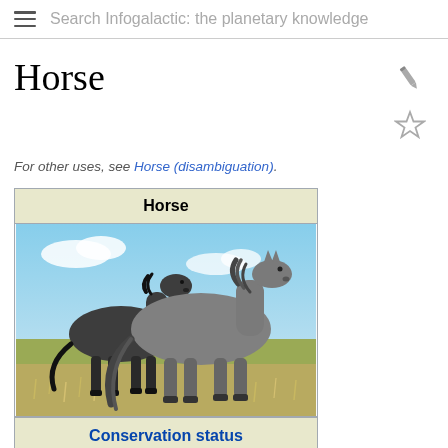Search Infogalactic: the planetary knowledge
Horse
For other uses, see Horse (disambiguation).
| Horse |
| --- |
| [image of two horses in a field] |
| Conservation status |
| Domesticated |